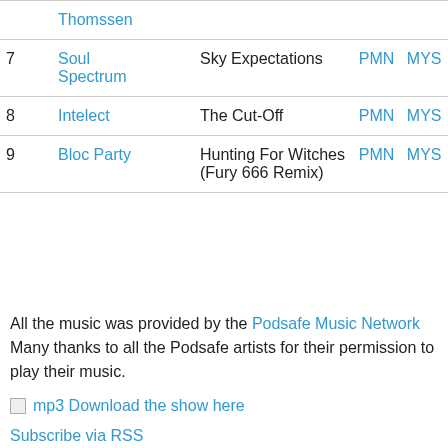| # | Artist | Track |  |  |
| --- | --- | --- | --- | --- |
|  | Thomssen |  |  |  |
| 7 | Soul Spectrum | Sky Expectations | PMN | MYS |
| 8 | Intelect | The Cut-Off | PMN | MYS |
| 9 | Bloc Party | Hunting For Witches (Fury 666 Remix) | PMN | MYS |
All the music was provided by the Podsafe Music Network Many thanks to all the Podsafe artists for their permission to play their music.
mp3 Download the show here
Subscribe via RSS
Email me at thestartledbunny@gmail.com